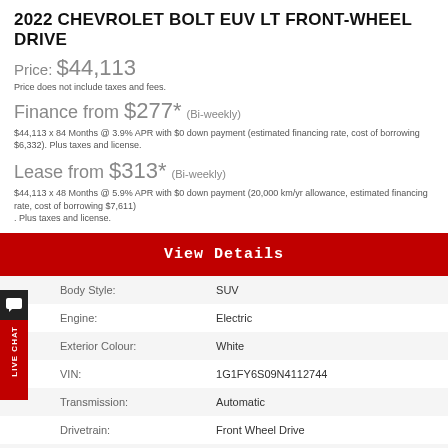2022 CHEVROLET BOLT EUV LT FRONT-WHEEL DRIVE
Price: $44,113
Price does not include taxes and fees.
Finance from $277* (Bi-weekly)
$44,113 x 84 Months @ 3.9% APR with $0 down payment (estimated financing rate, cost of borrowing $6,332). Plus taxes and license.
Lease from $313* (Bi-weekly)
$44,113 x 48 Months @ 5.9% APR with $0 down payment (20,000 km/yr allowance, estimated financing rate, cost of borrowing $7,611) . Plus taxes and license.
View Details
|  |  |
| --- | --- |
| Body Style: | SUV |
| Engine: | Electric |
| Exterior Colour: | White |
| VIN: | 1G1FY6S09N4112744 |
| Transmission: | Automatic |
| Drivetrain: | Front Wheel Drive |
| Stock #: | M7004-22 |